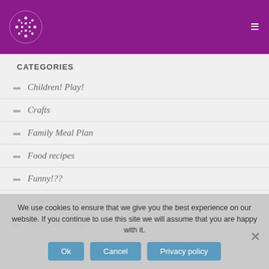Logo and navigation menu
CATEGORIES
Children! Play!
Crafts
Family Meal Plan
Food recipes
Funny!??
Gymnastics
Hobby Painting
We use cookies to ensure that we give you the best experience on our website. If you continue to use this site we will assume that you are happy with it.